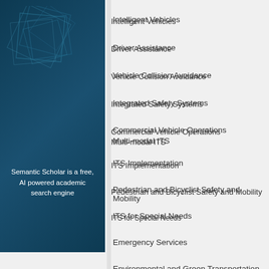[Figure (illustration): Semantic Scholar logo area — dark navy blue panel with geometric overlapping square shapes in lighter blue tones]
Semantic Scholar is a free, AI powered academic search engine
Intelligent Vehicles
Driver Assistance
Vehicle Collision Avoidance
Integrated Safety Systems
Commercial Vehicle Operations Multi-modal ITS
ITS Implementation
Pedestrian and Bicyclist Safety and Mobility
ITS for Special Needs
Emergency Services
Environmental and Green Transportation
In the tradition of successful IEEE ITS Conf process. The final version of the accepted p registers and presents the paper at the Con
Important Dates